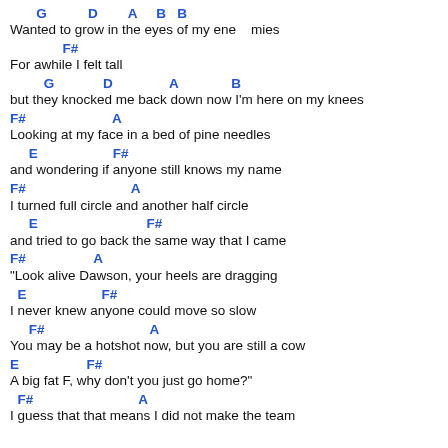G    D    A  B  B
Wanted to grow in the eyes of my ene   mies
F#
For awhile I felt tall
G            D            A            B
but they knocked me back down now I'm here on my knees
F#                  A
Looking at my face in a bed of pine needles
E                F#
and wondering if anyone still knows my name
F#                        A
I turned full circle and another half circle
E                           F#
and tried to go back the same way that I came
F#                A
"Look alive Dawson, your heels are dragging
E                  F#
I never knew anyone could move so slow
F#                           A
You may be a hotshot now, but you are still a cow
E               F#
A big fat F, why don't you just go home?"
F#                           A
I guess that that means I did not make the team